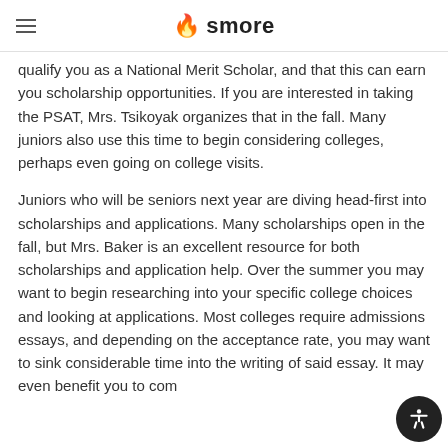smore
qualify you as a National Merit Scholar, and that this can earn you scholarship opportunities. If you are interested in taking the PSAT, Mrs. Tsikoyak organizes that in the fall. Many juniors also use this time to begin considering colleges, perhaps even going on college visits.
Juniors who will be seniors next year are diving head-first into scholarships and applications. Many scholarships open in the fall, but Mrs. Baker is an excellent resource for both scholarships and application help. Over the summer you may want to begin researching into your specific college choices and looking at applications. Most colleges require admissions essays, and depending on the acceptance rate, you may want to sink considerable time into the writing of said essay. It may even benefit you to come with some to share, so that they can serve the…